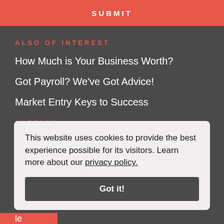SUBMIT
ALSO OF INTEREST
How Much is Your Business Worth?
Got Payroll? We've Got Advice!
Market Entry Keys to Success
ALDRICH
Careers
This website uses cookies to provide the best experience possible for its visitors. Learn more about our privacy policy.
Got it!